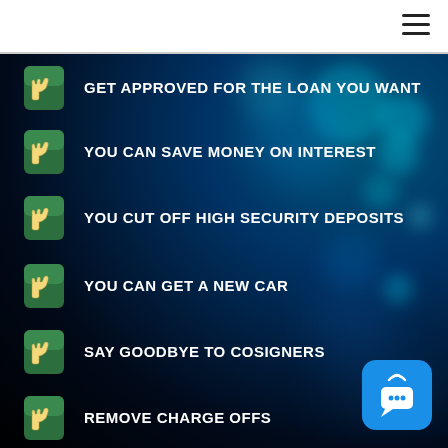GET APPROVED FOR THE LOAN YOU WANT
YOU CAN SAVE MONEY ON INTEREST
YOU CUT OFF HIGH SECURITY DEPOSITS
YOU CAN GET A NEW CAR
SAY GOODBYE TO COSIGNERS
REMOVE CHARGE OFFS